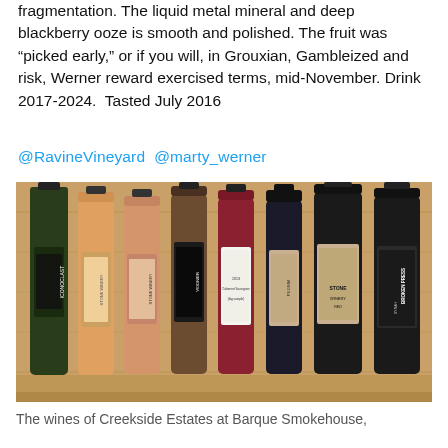fragmentation. The liquid metal mineral and deep blackberry ooze is smooth and polished. The fruit was “picked early,” or if you will, in Grouxian, Gambleized and risk, Werner reward exercised terms, mid-November. Drink 2017-2024.  Tasted July 2016
@RavineVineyard  @marty_werner
[Figure (photo): A row of wine bottles standing on a wooden surface, including bottles labeled Iconoclast and Broken Press Smith among others, with various colored labels.]
The wines of Creekside Estates at Barque Smokehouse,